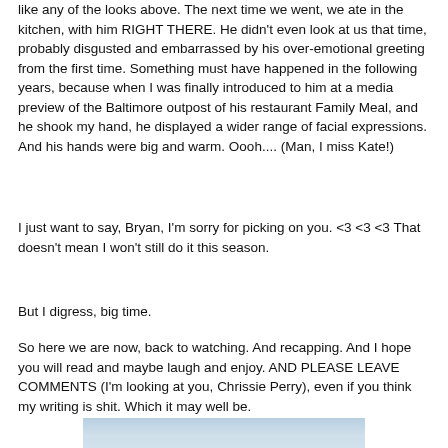like any of the looks above. The next time we went, we ate in the kitchen, with him RIGHT THERE. He didn't even look at us that time, probably disgusted and embarrassed by his over-emotional greeting from the first time. Something must have happened in the following years, because when I was finally introduced to him at a media preview of the Baltimore outpost of his restaurant Family Meal, and he shook my hand, he displayed a wider range of facial expressions. And his hands were big and warm. Oooh.... (Man, I miss Kate!)
I just want to say, Bryan, I'm sorry for picking on you. <3 <3 <3 That doesn't mean I won't still do it this season.
But I digress, big time.
So here we are now, back to watching. And recapping. And I hope you will read and maybe laugh and enjoy. AND PLEASE LEAVE COMMENTS (I'm looking at you, Chrissie Perry), even if you think my writing is shit. Which it may well be.
[Figure (photo): Partial photo at bottom of page showing a light blue sky or water scene]